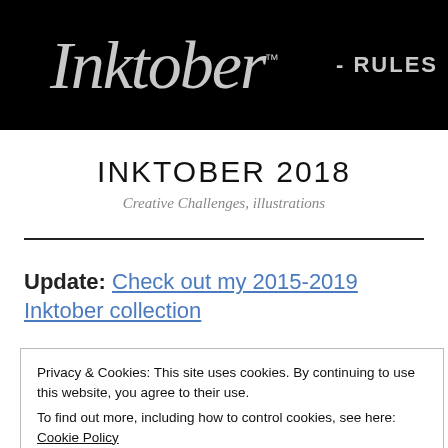Inktober™ - RULES
INKTOBER 2018
Creative Challenges, illustrations
Update: Check out my 2015-2019 Inktober collection
Privacy & Cookies: This site uses cookies. By continuing to use this website, you agree to their use.
To find out more, including how to control cookies, see here: Cookie Policy
Close and accept